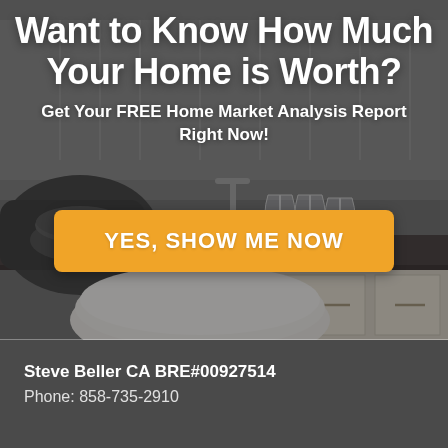[Figure (photo): Kitchen interior background with dark granite countertops, white cabinets, wine glasses, pots and bowls on the counter. Dark semi-transparent overlay on the upper portion.]
Want to Know How Much Your Home is Worth?
Get Your FREE Home Market Analysis Report Right Now!
YES, SHOW ME NOW
Steve Beller CA BRE#00927514
Phone: 858-735-2910